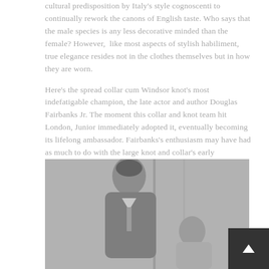cultural predisposition by Italy's style cognoscenti to continually rework the canons of English taste. Who says that the male species is any less decorative minded than the female? However, like most aspects of stylish habiliment, true elegance resides not in the clothes themselves but in how they are worn.
Here's the spread collar cum Windsor knot's most indefatigable champion, the late actor and author Douglas Fairbanks Jr. The moment this collar and knot team hit London, Junior immediately adopted it, eventually becoming its lifelong ambassador. Fairbanks's enthusiasm may have had as much to do with the large knot and collar's early acceptance by the beau monde as with its alleged instigator, the Duke of Windsor.
[Figure (photo): Black and white photograph showing two figures, likely Douglas Fairbanks Jr., in formal attire with spread collar and Windsor knot tie.]